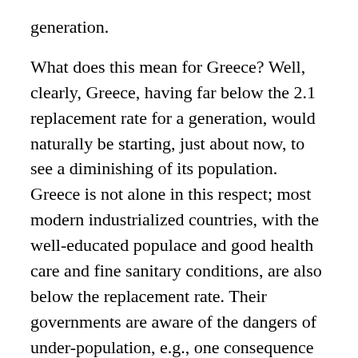generation.
What does this mean for Greece? Well, clearly, Greece, having far below the 2.1 replacement rate for a generation, would naturally be starting, just about now, to see a diminishing of its population. Greece is not alone in this respect; most modern industrialized countries, with the well-educated populace and good health care and fine sanitary conditions, are also below the replacement rate. Their governments are aware of the dangers of under-population, e.g., one consequence is that there will not be enough workers in the future to support the always larger number of aging retirees. So, these governments, each in its own way, is trying to do the opposite of China: to persuade its people to have more children! This is done via